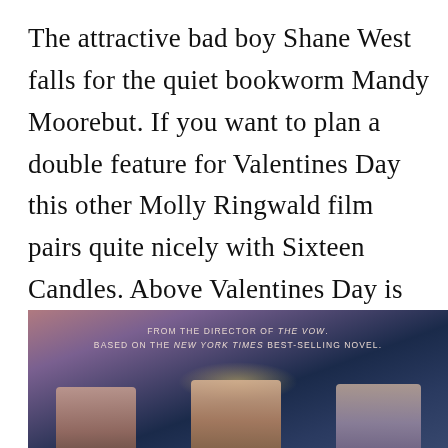The attractive bad boy Shane West falls for the quiet bookworm Mandy Moorebut. If you want to plan a double feature for Valentines Day this other Molly Ringwald film pairs quite nicely with Sixteen Candles. Above Valentines Day is now available on Netflix. Words by Deanna Cheah. A Star Is Born.
[Figure (photo): Movie poster or promotional image with dark blue/purple gradient background showing text 'FROM THE DIRECTOR OF THE VOW. BASED ON THE NEW YORK TIMES BEST-SELLING NOVEL.' and silhouettes/figures of people in the lower portion.]